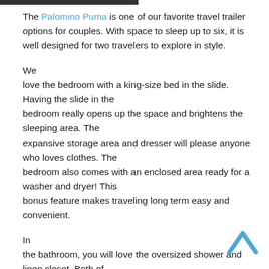The Palomino Puma is one of our favorite travel trailer options for couples. With space to sleep up to six, it is well designed for two travelers to explore in style.
We love the bedroom with a king-size bed in the slide. Having the slide in the bedroom really opens up the space and brightens the sleeping area. The expansive storage area and dresser will please anyone who loves clothes. The bedroom also comes with an enclosed area ready for a washer and dryer! This bonus feature makes traveling long term easy and convenient.
In the bathroom, you will love the oversized shower and linen closet. Both of